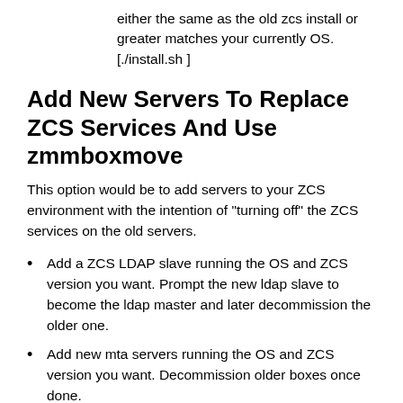either the same as the old zcs install or greater matches your currently OS. [./install.sh ]
Add New Servers To Replace ZCS Services And Use zmmboxmove
This option would be to add servers to your ZCS environment with the intention of "turning off" the ZCS services on the old servers.
Add a ZCS LDAP slave running the OS and ZCS version you want. Prompt the new ldap slave to become the ldap master and later decommission the older one.
Add new mta servers running the OS and ZCS version you want. Decommission older boxes once done.
Add new mailstores running the OS and ZCS version you want. Use the zmmboxmove command to move all the accounts to the new mailstores. Decommission the